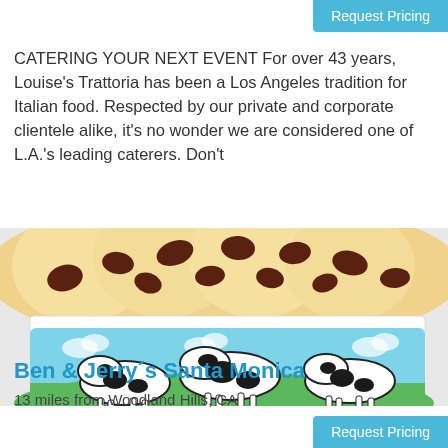Request Pricing
CATERING YOUR NEXT EVENT For over 43 years, Louise’s Trattoria has been a Los Angeles tradition for Italian food. Respected by our private and corporate clientele alike, it’s no wonder we are considered one of L.A.’s leading caterers. Don’t
[Figure (illustration): Cartoon illustration of a Ben & Jerry's ice cream container with chocolate chip cookie dough scoops on top and black and white cows on the front label, set against a green pasture and blue sky background.]
Ben & Jerry´s Santa Monica
13 miles from Woodland Hills, CA
Request Pricing